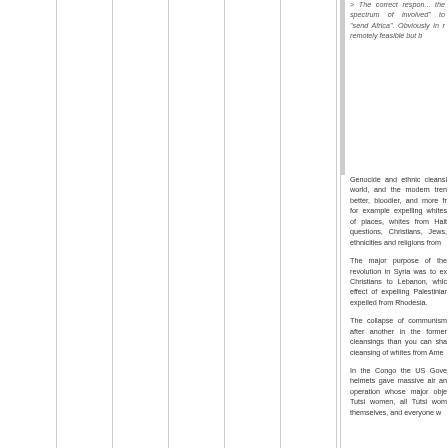> The correct respon... the spectrum of involved" to "send Africa". Obviously in r remotely feasible but b
Genocide and ethnic cleansi world, and the modern tren better, bloodier, and more fr for example expelling whites of places, whites from Hait questions, Christians, Jews, ethnicities and religions from
The major purpose of the revolution in Syria was to ex Christians to Lebanon, whic effect of expelling Palestiniar expelled from Rhodesia.
The collapse of communism after another in the former cleansings than you can sha cleansing of whites from Ame
In the Congo the US Gove helmets gave massive air an operation whose major obje Tutsi women, all Tutsi wom themselves, and everyone w